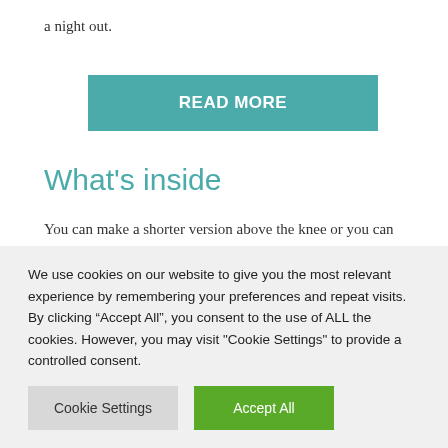a night out.
READ MORE
What's inside
You can make a shorter version above the knee or you can also use the top cutting line and get a camisole that you can pair with every pants or skirt you have in your wardrobe. The pattern is available in 5 sizes (from xs to xl)
We use cookies on our website to give you the most relevant experience by remembering your preferences and repeat visits. By clicking “Accept All”, you consent to the use of ALL the cookies. However, you may visit "Cookie Settings" to provide a controlled consent.
Cookie Settings
Accept All